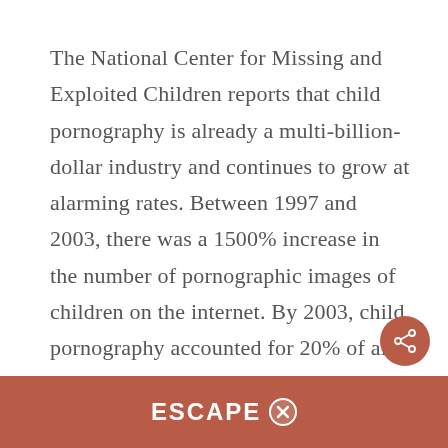The National Center for Missing and Exploited Children reports that child pornography is already a multi-billion-dollar industry and continues to grow at alarming rates. Between 1997 and 2003, there was a 1500% increase in the number of pornographic images of children on the internet. By 2003, child pornography accounted for 20% of all internet pornographic material. Disturbingly, some of the most significant areas of growth are children...
ESCAPE ✕